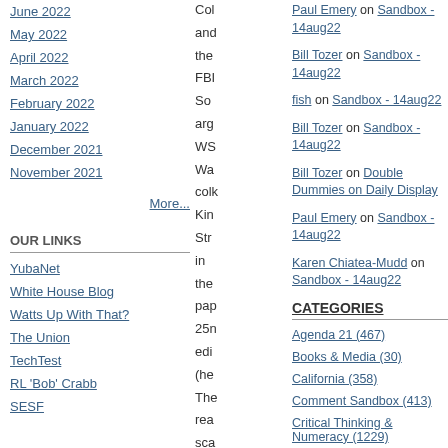June 2022
May 2022
April 2022
March 2022
February 2022
January 2022
December 2021
November 2021
More...
OUR LINKS
YubaNet
White House Blog
Watts Up With That?
The Union
TechTest
RL 'Bob' Crabb
SESF
Paul Emery on Sandbox - 14aug22
Bill Tozer on Sandbox - 14aug22
fish on Sandbox - 14aug22
Bill Tozer on Sandbox - 14aug22
Bill Tozer on Double Dummies on Daily Display
Paul Emery on Sandbox - 14aug22
Karen Chiatea-Mudd on Sandbox - 14aug22
CATEGORIES
Agenda 21 (467)
Books & Media (30)
California (358)
Comment Sandbox (413)
Critical Thinking & Numeracy (1229)
Culture Comments (719)
Current Affairs (1742)
Film (7)